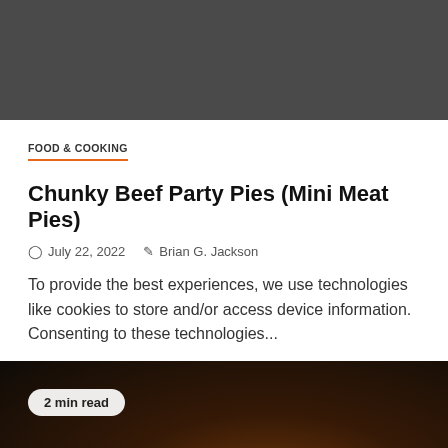[Figure (photo): Dark gray image at the top of the page, likely a food photo partially cropped]
FOOD & COOKING
Chunky Beef Party Pies (Mini Meat Pies)
July 22, 2022   Brian G. Jackson
To provide the best experiences, we use technologies like cookies to store and/or access device information. Consenting to these technologies...
[Figure (photo): Dark food photography image at the bottom showing cooking scene with orange light]